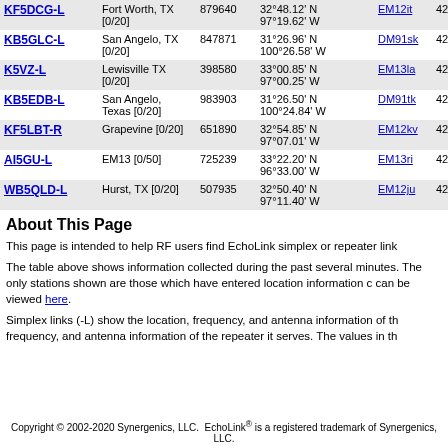| Callsign | Location | Node | Coordinates | Grid | Freq |
| --- | --- | --- | --- | --- | --- |
| KF5DCG-L | Fort Worth, TX [0/20] | 879640 | 32°48.12' N 97°19.62' W | EM12it | 424.0 |
| KB5GLC-L | San Angelo, TX [0/20] | 847871 | 31°26.96' N 100°26.58' W | DM91sk | 424.6 |
| K5VZ-L | Lewisville TX [0/20] | 398580 | 33°00.85' N 97°00.25' W | EM13la | 425.5 |
| KB5EDB-L | San Angelo, Texas [0/20] | 983903 | 31°26.50' N 100°24.84' W | DM91tk | 425.5 |
| KF5LBT-R | Grapevine [0/20] | 651890 | 32°54.85' N 97°07.01' W | EM12kv | 426.2 |
| AI5GU-L | EM13 [0/50] | 725239 | 33°22.20' N 96°33.00' W | EM13ri | 426.9 |
| WB5QLD-L | Hurst, TX [0/20] | 507935 | 32°50.40' N 97°11.40' W | EM12ju | 427.2 |
About This Page
This page is intended to help RF users find EchoLink simplex or repeater link
The table above shows information collected during the past several minutes. The only stations shown are those which have entered location information c can be viewed here.
Simplex links (-L) show the location, frequency, and antenna information of th frequency, and antenna information of the repeater it serves. The values in th
Copyright © 2002-2020 Synergenics, LLC. EchoLink® is a registered trademark of Synergenics, LLC.